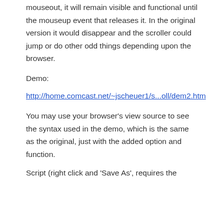mouseout, it will remain visible and functional until the mouseup event that releases it. In the original version it would disappear and the scroller could jump or do other odd things depending upon the browser.
Demo:
http://home.comcast.net/~jscheuer1/s...oll/dem2.htm
You may use your browser's view source to see the syntax used in the demo, which is the same as the original, just with the added option and function.
Script (right click and 'Save As', requires the